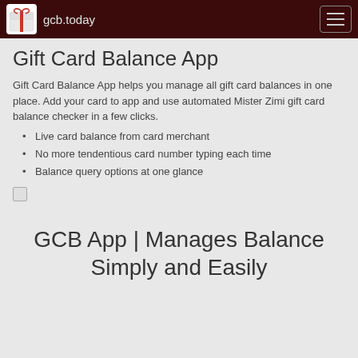gcb.today
Gift Card Balance App
Gift Card Balance App helps you manage all gift card balances in one place. Add your card to app and use automated Mister Zimi gift card balance checker in a few clicks.
Live card balance from card merchant
No more tendentious card number typing each time
Balance query options at one glance
GCB App | Manages Balance Simply and Easily